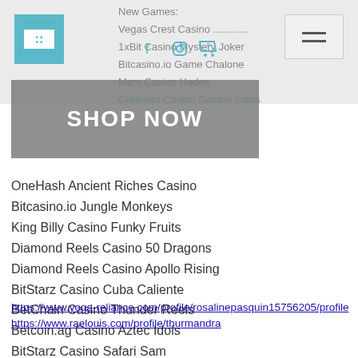New Games:
Vegas Crest Casino ...
1xBit Casino Mystery Joker
Bitcasino.io Game Chalone
Mars Casino Hades
Criterium Casino Golden Lotus
[Figure (logo): Teal/cyan square logo box with white inner rectangle and small text]
[Figure (screenshot): SHOP NOW button overlay in grey]
OneHash Ancient Riches Casino
Bitcasino.io Jungle Monkeys
King Billy Casino Funky Fruits
Diamond Reels Casino 50 Dragons
Diamond Reels Casino Apollo Rising
BitStarz Casino Cuba Caliente
BetChain Casino Thunder Reels
Betcoin.ag Casino Aztec Idols
BitStarz Casino Safari Sam
Playamo Casino Crazy Monkey
https://www.yoga-reliance.com/profile/rosalinepasquin157562​05/profile
https://www.raelouis.com/profile/thurmandra...profile